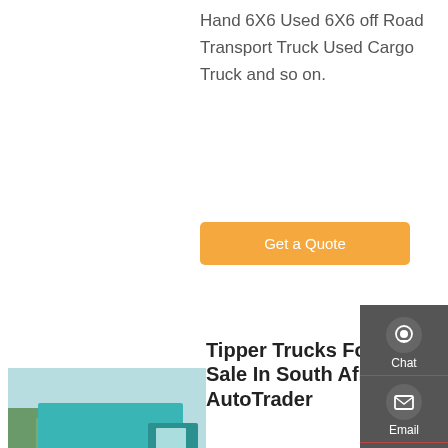Hand 6X6 Used 6X6 off Road Transport Truck Used Cargo Truck and so on.
Get a Quote
[Figure (photo): Rear view of a teal/green tipper truck parked on a road]
Tipper Trucks For Sale In South Africa - AutoTrader
R 684 250 Mercedes-Benz Actros 4140 8x4 Tipper Used Truck 2007 500 000 km Automatic. R 569 250 Mercedes-Benz Axor 2628 10 Cube Tipper Used Truck 2009 721 000 km